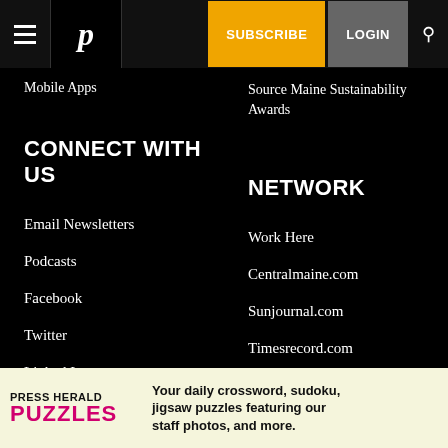P | SUBSCRIBE | LOGIN
Mobile Apps
Source Maine Sustainability Awards
CONNECT WITH US
NETWORK
Email Newsletters
Work Here
Podcasts
Centralmaine.com
Facebook
Sunjournal.com
Twitter
Timesrecord.com
Linked In
The Forecasters
Instagram
Mainely Media Weeklies
Pinterest
Varsity Maine
PRESS HERALD PUZZLES Your daily crossword, sudoku, jigsaw puzzles featuring our staff photos, and more.